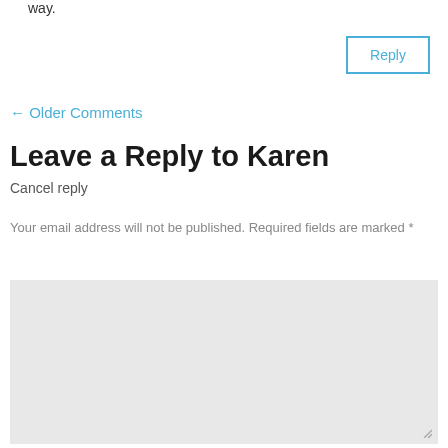way.
Reply
← Older Comments
Leave a Reply to Karen
Cancel reply
Your email address will not be published. Required fields are marked *
Comment